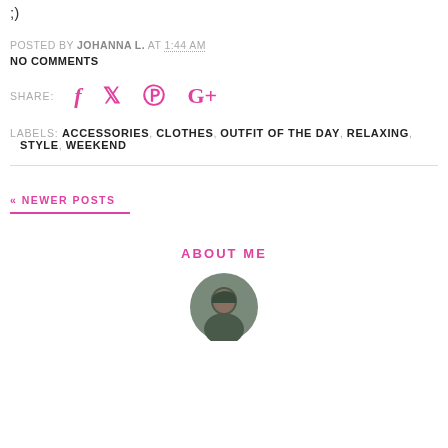;)
POSTED BY JOHANNA L. AT 1:44 AM
NO COMMENTS
SHARE: [facebook] [twitter] [pinterest] [google+]
LABELS: ACCESSORIES, CLOTHES, OUTFIT OF THE DAY, RELAXING, STYLE, WEEKEND
« NEWER POSTS
ABOUT ME